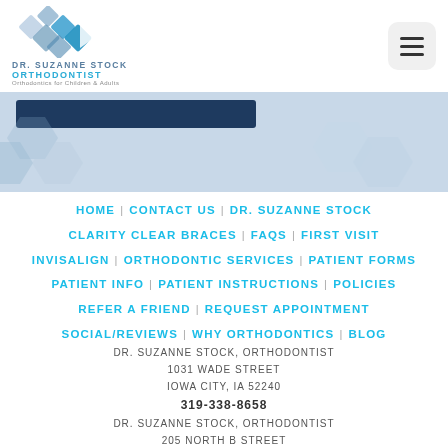[Figure (logo): Dr. Suzanne Stock Orthodontist logo with diamond shapes and text]
[Figure (other): Hamburger menu button (three horizontal lines) in a rounded square]
[Figure (other): Blue banner area with dark navy bar and hexagonal decorative shapes]
HOME    CONTACT US    DR. SUZANNE STOCK
CLARITY CLEAR BRACES    FAQS    FIRST VISIT
INVISALIGN    ORTHODONTIC SERVICES    PATIENT FORMS
PATIENT INFO    PATIENT INSTRUCTIONS    POLICIES
REFER A FRIEND    REQUEST APPOINTMENT
SOCIAL/REVIEWS    WHY ORTHODONTICS    BLOG
DR. SUZANNE STOCK, ORTHODONTIST
1031 WADE STREET
IOWA CITY, IA 52240
319-338-8658
DR. SUZANNE STOCK, ORTHODONTIST
205 NORTH B STREET
FAIRFIELD, IA 52556